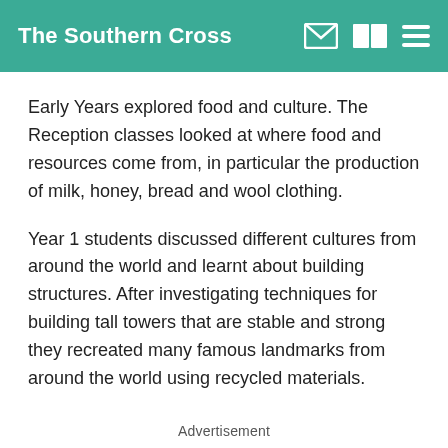The Southern Cross
Early Years explored food and culture. The Reception classes looked at where food and resources come from, in particular the production of milk, honey, bread and wool clothing.
Year 1 students discussed different cultures from around the world and learnt about building structures. After investigating techniques for building tall towers that are stable and strong they recreated many famous landmarks from around the world using recycled materials.
Advertisement